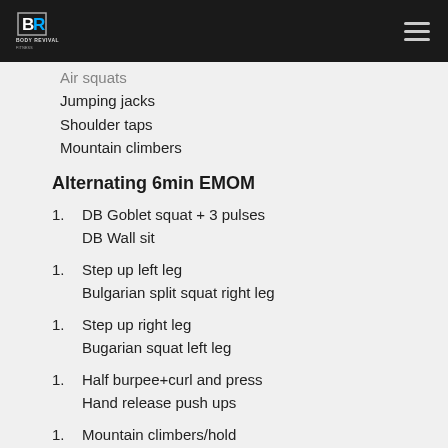Body Revival logo and menu
Air squats
Jumping jacks
Shoulder taps
Mountain climbers
Alternating 6min EMOM
DB Goblet squat + 3 pulses
DB Wall sit
Step up left leg
Bulgarian split squat right leg
Step up right leg
Bugarian squat left leg
Half burpee+curl and press
Hand release push ups
Mountain climbers/hold
V-tucks/hold